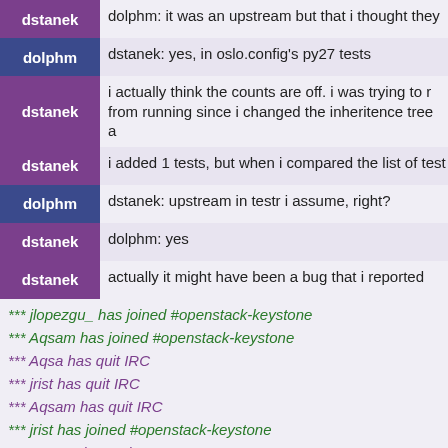dstanek: dolphm: it was an upstream but that i thought they
dolphm: dstanek: yes, in oslo.config's py27 tests
dstanek: i actually think the counts are off. i was trying to r from running since i changed the inheritence tree a
dstanek: i added 1 tests, but when i compared the list of test
dolphm: dstanek: upstream in testr i assume, right?
dstanek: dolphm: yes
dstanek: actually it might have been a bug that i reported
*** jlopezgu_ has joined #openstack-keystone
*** Aqsam has joined #openstack-keystone
*** Aqsa has quit IRC
*** jrist has quit IRC
*** Aqsam has quit IRC
*** jrist has joined #openstack-keystone
*** ayoung has quit IRC
*** nicolasbock has quit IRC
*** sjain has joined #openstack-keystone
*** zhurong_ has joined #openstack-keystone
*** lucasxu has joined #openstack-keystone
*** zhurong has quit IRC
*** pnavarro has quit IRC
*** zhurong_ has quit IRC